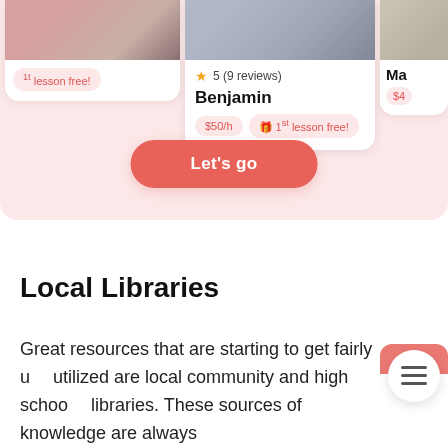[Figure (screenshot): Tutor profile cards showing Benjamin with 5 stars (9 reviews), $50/h rate, 1st lesson free. Left and right cards partially visible.]
5 (9 reviews)
Benjamin
$50/h  🎁 1st lesson free!
1st lesson free!
$4
Ma
Let's go
Local Libraries
Great resources that are starting to get fairly utilized are local community and high school libraries. These sources of knowledge are always